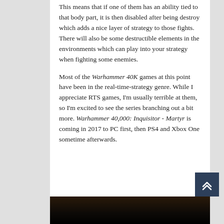This means that if one of them has an ability tied to that body part, it is then disabled after being destroy which adds a nice layer of strategy to those fights. There will also be some destructible elements in the environments which can play into your strategy when fighting some enemies.
Most of the Warhammer 40K games at this point have been in the real-time-strategy genre. While I appreciate RTS games, I'm usually terrible at them, so I'm excited to see the series branching out a bit more. Warhammer 40,000: Inquisitor - Martyr is coming in 2017 to PC first, then PS4 and Xbox One sometime afterwards.
[Figure (photo): Dark image strip at the bottom, appears to be a dimly lit scene from the game Warhammer 40,000: Inquisitor - Martyr]